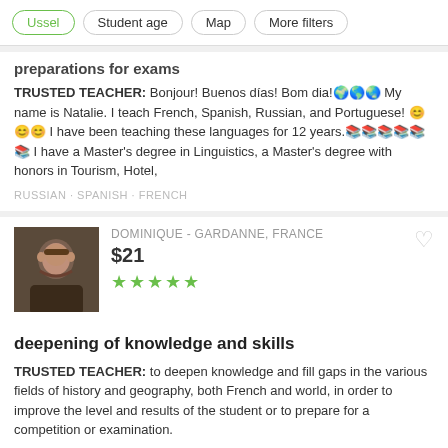Ussel · Student age · Map · More filters
preparations for exams
TRUSTED TEACHER: Bonjour! Buenos días! Bom dia!🌍🌎🌏 My name is Natalie. I teach French, Spanish, Russian, and Portuguese! 😊😊😊 I have been teaching these languages for 12 years.📚📚📚📚📚📚 I have a Master's degree in Linguistics, a Master's degree with honors in Tourism, Hotel,
RUSSIAN · SPANISH · FRENCH
DOMINIQUE - GARDANNE, FRANCE
$21
[Figure (photo): Profile photo of tutor Dominique, a man with dark hair and beard]
deepening of knowledge and skills
TRUSTED TEACHER: to deepen knowledge and fill gaps in the various fields of history and geography, both French and world, in order to improve the level and results of the student or to prepare for a competition or examination.
WORLD HISTORY · GEOGRAPHY
JOHNATHAN - DROGHEDA, IRELAND